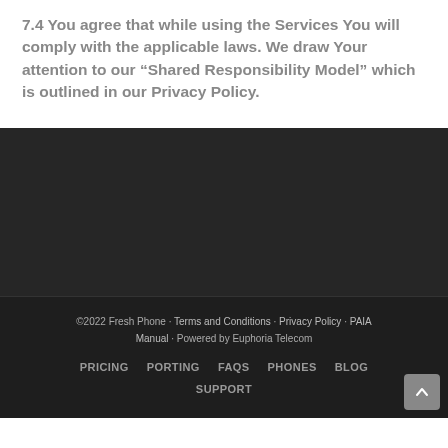7.4 You agree that while using the Services You will comply with the applicable laws. We draw Your attention to our “Shared Responsibility Model” which is outlined in our Privacy Policy.
©2022 Fresh Phone · Terms and Conditions · Privacy Policy · PAIA Manual · Powered by Euphoria Telecom
PRICING  PORTING  FAQs  PHONES  BLOG  SUPPORT